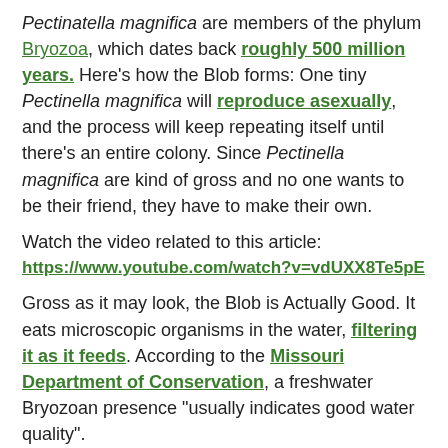Pectinatella magnifica are members of the phylum Bryozoa, which dates back roughly 500 million years. Here's how the Blob forms: One tiny Pectinella magnifica will reproduce asexually, and the process will keep repeating itself until there's an entire colony. Since Pectinella magnifica are kind of gross and no one wants to be their friend, they have to make their own.
Watch the video related to this article: https://www.youtube.com/watch?v=vdUXX8Te5pE
Gross as it may look, the Blob is Actually Good. It eats microscopic organisms in the water, filtering it as it feeds. According to the Missouri Department of Conservation, a freshwater Bryozoan presence "usually indicates good water quality".